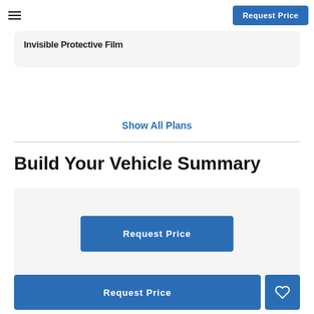≡   Request Price
Invisible Protective Film
Show All Plans
Build Your Vehicle Summary
[Figure (screenshot): A light gray card panel containing a centered blue 'Request Price' button]
[Figure (screenshot): Bottom action bar with a wide blue 'Request Price' button and a blue heart icon button]